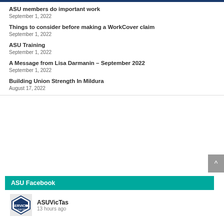ASU members do important work
September 1, 2022
Things to consider before making a WorkCover claim
September 1, 2022
ASU Training
September 1, 2022
A Message from Lisa Darmanin – September 2022
September 1, 2022
Building Union Strength In Mildura
August 17, 2022
ASU Facebook
ASUVicTas
13 hours ago